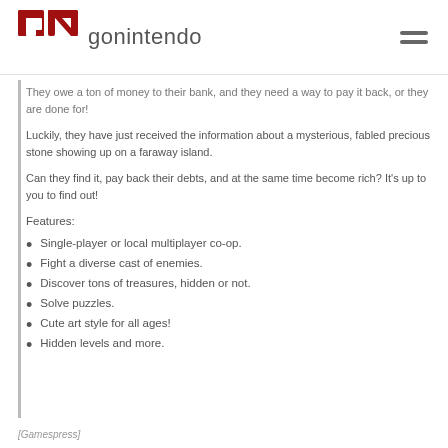gonintendo
They owe a ton of money to their bank, and they need a way to pay it back, or they are done for!
Luckily, they have just received the information about a mysterious, fabled precious stone showing up on a faraway island.
Can they find it, pay back their debts, and at the same time become rich? It's up to you to find out!
Features:
Single-player or local multiplayer co-op.
Fight a diverse cast of enemies.
Discover tons of treasures, hidden or not.
Solve puzzles.
Cute art style for all ages!
Hidden levels and more.
[Gamespress]